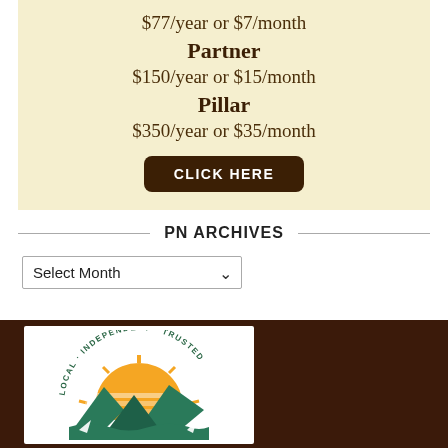$77/year or $7/month
Partner
$150/year or $15/month
Pillar
$350/year or $35/month
CLICK HERE
PN ARCHIVES
Select Month
[Figure (logo): Sun rising over mountains logo with text LOCAL · INDEPENDENT · TRUSTED arched around it]